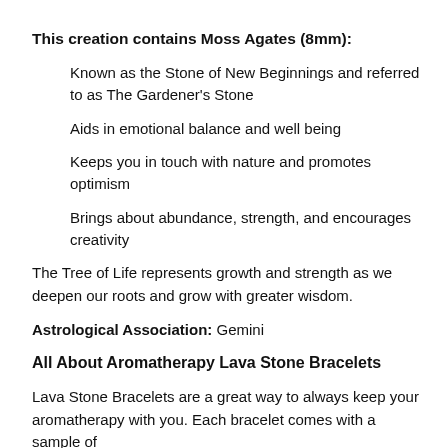This creation contains Moss Agates (8mm):
Known as the Stone of New Beginnings and referred to as The Gardener's Stone
Aids in emotional balance and well being
Keeps you in touch with nature and promotes optimism
Brings about abundance, strength, and encourages creativity
The Tree of Life represents growth and strength as we deepen our roots and grow with greater wisdom.
Astrological Association: Gemini
All About Aromatherapy Lava Stone Bracelets
Lava Stone Bracelets are a great way to always keep your aromatherapy with you. Each bracelet comes with a sample of